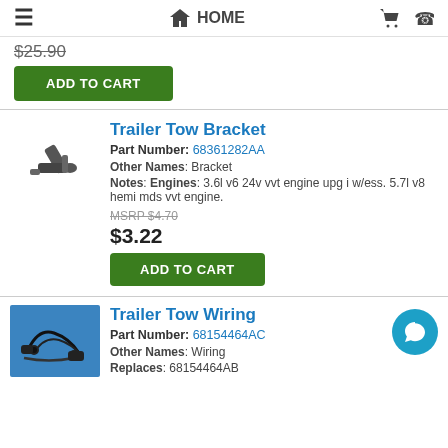HOME
$25.90
ADD TO CART
Trailer Tow Bracket
Part Number: 68361282AA
Other Names: Bracket
Notes: Engines: 3.6l v6 24v vvt engine upg i w/ess. 5.7l v8 hemi mds vvt engine.
MSRP $4.70
$3.22
ADD TO CART
Trailer Tow Wiring
Part Number: 68154464AC
Other Names: Wiring
Replaces: 68154464AB